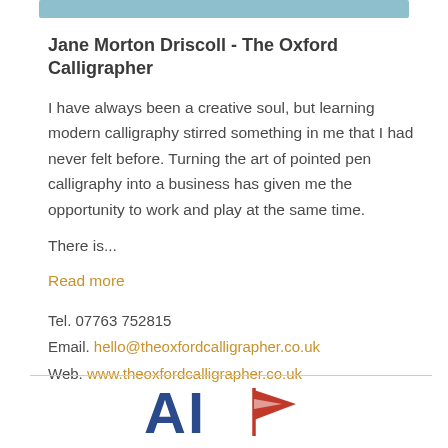[Figure (illustration): Teal/blue horizontal decorative bar at the top of the content card]
Jane Morton Driscoll - The Oxford Calligrapher
I have always been a creative soul, but learning modern calligraphy stirred something in me that I had never felt before. Turning the art of pointed pen calligraphy into a business has given me the opportunity to work and play at the same time.
There is...
Read more
Tel. 07763 752815
Email. hello@theoxfordcalligrapher.co.uk
Web. www.theoxfordcalligrapher.co.uk
[Figure (logo): Logo area at bottom with large blue letters A and I, and a red pennant/flag shape]